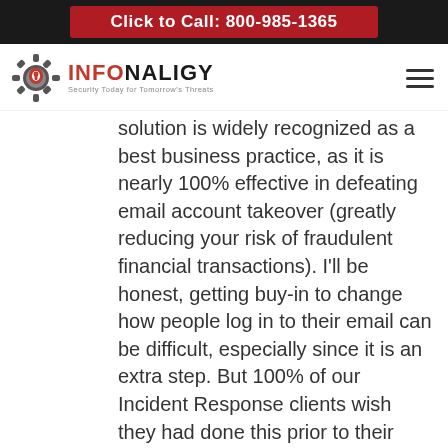Click to Call: 800-985-1365
[Figure (logo): Infonaligy logo with gear icon and tagline 'Security Today for Tomorrow's Threats']
solution is widely recognized as a best business practice, as it is nearly 100% effective in defeating email account takeover (greatly reducing your risk of fraudulent financial transactions). I'll be honest, getting buy-in to change how people log in to their email can be difficult, especially since it is an extra step. But 100% of our Incident Response clients wish they had done this prior to their hacks.